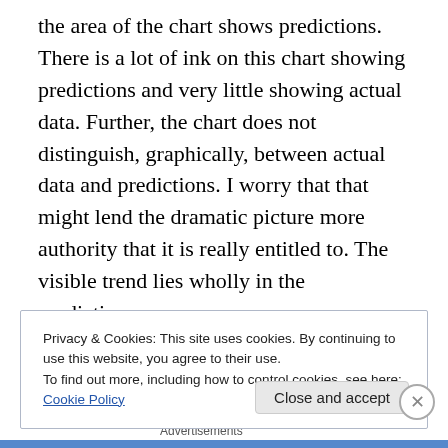the area of the chart shows predictions. There is a lot of ink on this chart showing predictions and very little showing actual data. Further, the chart does not distinguish, graphically, between actual data and predictions. I worry that that might lend the dramatic picture more authority that it is really entitled to. The visible trend lies wholly in the predictions.
Some past history would have exposed variation in both funding and spending and enabled the viewer to set the predictions in that historical context. A chart showing a
Privacy & Cookies: This site uses cookies. By continuing to use this website, you agree to their use.
To find out more, including how to control cookies, see here: Cookie Policy
Close and accept
Advertisements